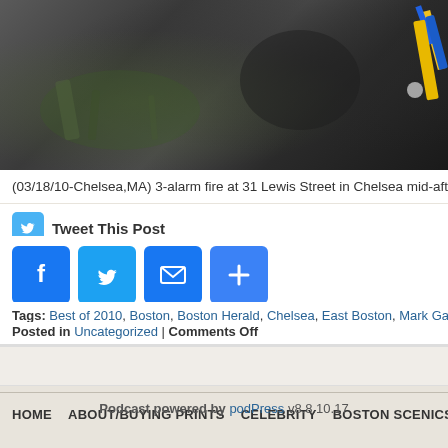[Figure (photo): Dark overhead photo of fire scene debris on ground at Chelsea MA fire]
(03/18/10-Chelsea,MA) 3-alarm fire at 31 Lewis Street in Chelsea mid-afternoon
Tweet This Post
[Figure (infographic): Social share buttons: Facebook, Twitter, Email, More]
Tags: Best of 2010, Boston, Boston Herald, Chelsea, East Boston, Mark Garfinkel, Mass, Massa...
Posted in Uncategorized | Comments Off
HOME  ABOUT/BUYING PRINTS  CELEBRITY  BOSTON SCENICS  *AVIATION*
Podcast powered by podPress v8.8.10.17